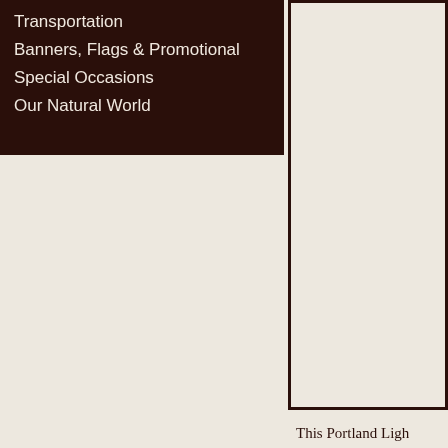Transportation
Banners, Flags & Promotional
Special Occasions
Our Natural World
This Portland Ligh